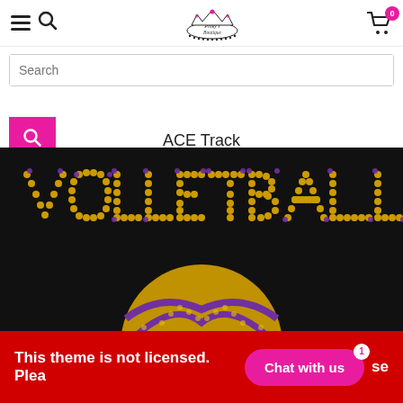Navigation bar with hamburger menu, search icon, Pinky's Boutique logo, and cart icon with badge 0
Search
ACE Track
[Figure (photo): Rhinestone/studded design on black fabric showing the word VOLLEYBALL in yellow and purple rhinestones, with a volleyball below in matching colors]
This theme is not licensed. Plea...se
Chat with us